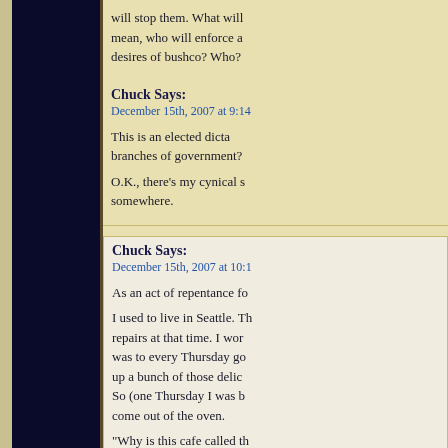will stop them. What will mean, who will enforce a desires of bushco? Who?
Chuck Says:
December 15th, 2007 at 9:14
This is an elected dicta branches of government?
O.K., there's my cynical s somewhere.
Chuck Says:
December 15th, 2007 at 10:1
As an act of repentance fo
I used to live in Seattle. Th repairs at that time. I wor was to every Thursday go up a bunch of those delic So (one Thursday I was b come out of the oven.
“Why is this cafe called th
Well, and this is the whole